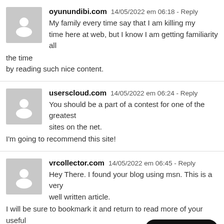oyunundibi.com  14/05/2022 em 06:18 - Reply
My family every time say that I am killing my time here at web, but I know I am getting familiarity all the time by reading such nice content.
userscloud.com  14/05/2022 em 06:24 - Reply
You should be a part of a contest for one of the greatest sites on the net. I'm going to recommend this site!
vrcollector.com  14/05/2022 em 06:45 - Reply
Hey There. I found your blog using msn. This is a very well written article. I will be sure to bookmark it and return to read more of your useful info. Thanks for the post. I will definitely return.
Ir para o topo